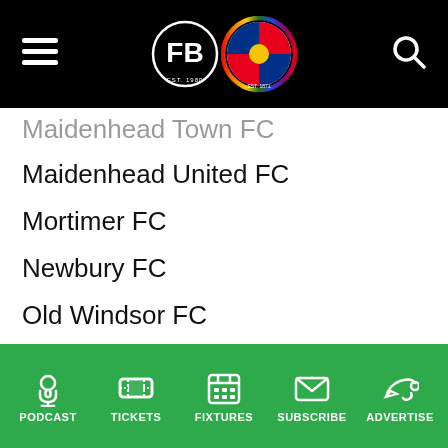Header bar with hamburger menu, FB podcast logo, Reading FC logo, search icon
Maidenhead Town FC (partial, cut off at top)
Maidenhead United FC
Mortimer FC
Newbury FC
Old Windsor FC
Reading City FC
Reading FC Women
Reading Town FC (Historic) (partial, cut off at bottom)
PODCAST   TICKETS   FIXTURES   SUBSCRIBE   ADVERTISE